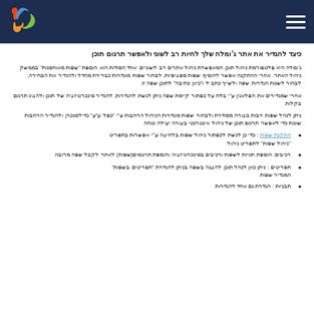[Figure (logo): Joomla logo (colorful swirl) on dark navy header bar with hamburger menu icon on right]
Hebrew title text about Joomla content management
Hebrew body paragraph about Joomla configuration and settings with quoted terms
Hebrew body paragraph with reference notation
Hebrew body paragraph about settings with quoted terms
Hebrew list item 1 with hyperlink
Hebrew list item 2
Hebrew list item 3 with quoted term
Hebrew list item 4 (partially visible)